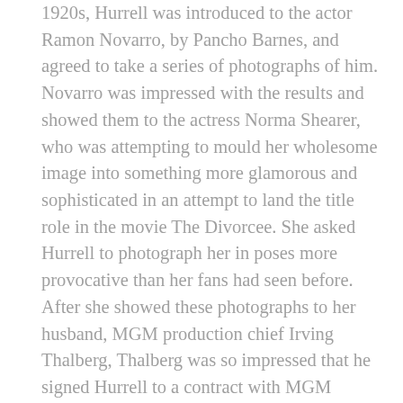1920s, Hurrell was introduced to the actor Ramon Novarro, by Pancho Barnes, and agreed to take a series of photographs of him. Novarro was impressed with the results and showed them to the actress Norma Shearer, who was attempting to mould her wholesome image into something more glamorous and sophisticated in an attempt to land the title role in the movie The Divorcee. She asked Hurrell to photograph her in poses more provocative than her fans had seen before. After she showed these photographs to her husband, MGM production chief Irving Thalberg, Thalberg was so impressed that he signed Hurrell to a contract with MGM Studios, making him head of the portrait photography department. But in 1932, Hurrell left MGM after differences with their publicity head, and from then on until 1938 ran his own studio at 8706 Sunset Boulevard.Throughout the decade, Hurrell photographed every star contracted to MGM, and his striking black-and-white images were used extensively in the marketing of